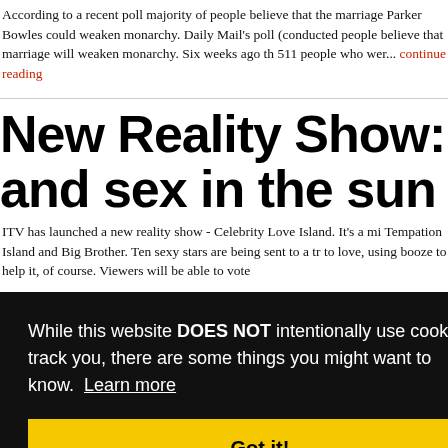According to a recent poll majority of people believe that the marriage Parker Bowles could weaken monarchy. Daily Mail's poll (conducted people believe that marriage will weaken monarchy. Six weeks ago th 511 people who wer... continue reading
New Reality Show: Lot and sex in the sun
ITV has launched a new reality show - Celebrity Love Island. It's a mi Tempation Island and Big Brother. Ten sexy stars are being sent to a tr to love, using booze to help it, of course. Viewers will be able to vote
[Figure (screenshot): Cookie consent banner overlay with black background reading 'While this website DOES NOT intentionally use cookies to track you, there are some things you might want to know. Learn more' and a yellow 'Got it!' button]
s ca kids
s. This pla ening and e proposal